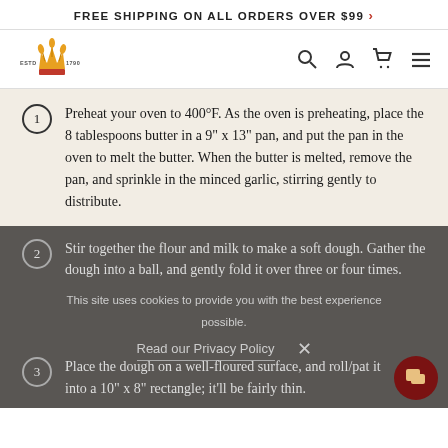FREE SHIPPING ON ALL ORDERS OVER $99 >
[Figure (logo): King Arthur Baking crown/wheat logo with ESTD 1790 text, plus search, user, cart, and menu icons in nav bar]
1. Preheat your oven to 400°F. As the oven is preheating, place the 8 tablespoons butter in a 9" x 13" pan, and put the pan in the oven to melt the butter. When the butter is melted, remove the pan, and sprinkle in the minced garlic, stirring gently to distribute.
2. Stir together the flour and milk to make a soft dough. Gather the dough into a ball, and gently fold it over three or four times.
3. Place the dough on a well-floured surface, and roll/pat it into a 10" x 8" rectangle; it'll be fairly thin.
This site uses cookies to provide you with the best experience possible. Read our Privacy Policy X